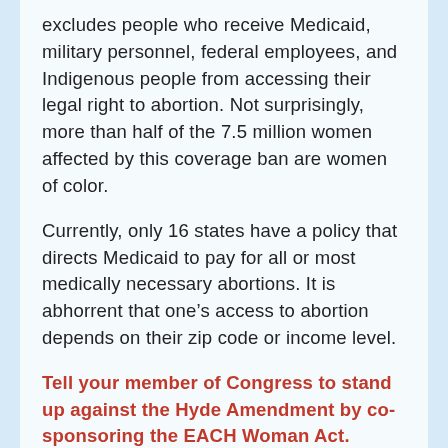excludes people who receive Medicaid, military personnel, federal employees, and Indigenous people from accessing their legal right to abortion. Not surprisingly, more than half of the 7.5 million women affected by this coverage ban are women of color.
Currently, only 16 states have a policy that directs Medicaid to pay for all or most medically necessary abortions. It is abhorrent that one's access to abortion depends on their zip code or income level.
Tell your member of Congress to stand up against the Hyde Amendment by co-sponsoring the EACH Woman Act. *When